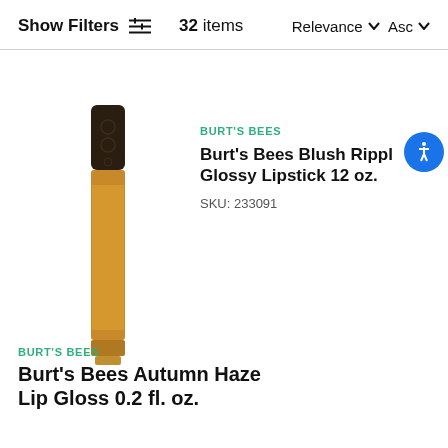Show Filters  32 items  Relevance Asc
BURT'S BEES
Burt's Bees Blush Ripple Glossy Lipstick 12 oz.
SKU: 233091
[Figure (photo): Burt's Bees lip gloss product in a tube, golden/amber color with dark cap]
BURT'S BEES
Burt's Bees Autumn Haze Lip Gloss 0.2 fl. oz.